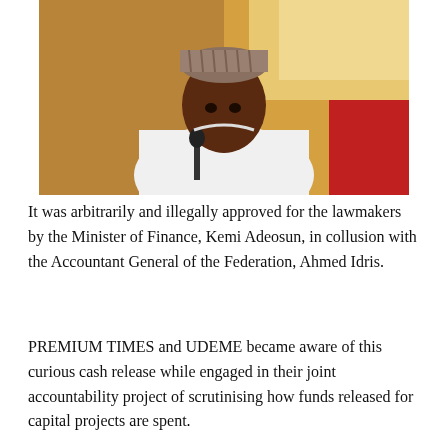[Figure (photo): A man wearing a white traditional Nigerian outfit and a woven cap sits at what appears to be a hearing or official chamber, with his hand raised to his chin in a thoughtful pose. A microphone is visible in front of him.]
It was arbitrarily and illegally approved for the lawmakers by the Minister of Finance, Kemi Adeosun, in collusion with the Accountant General of the Federation, Ahmed Idris.
PREMIUM TIMES and UDEME became aware of this curious cash release while engaged in their joint accountability project of scrutinising how funds released for capital projects are spent.